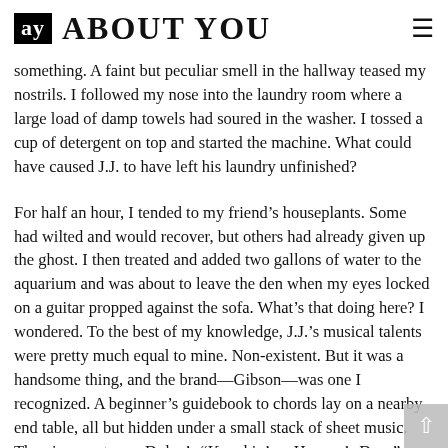ay ABOUT YOU
something. A faint but peculiar smell in the hallway teased my nostrils. I followed my nose into the laundry room where a large load of damp towels had soured in the washer. I tossed a cup of detergent on top and started the machine. What could have caused J.J. to have left his laundry unfinished?
For half an hour, I tended to my friend’s houseplants. Some had wilted and would recover, but others had already given up the ghost. I then treated and added two gallons of water to the aquarium and was about to leave the den when my eyes locked on a guitar propped against the sofa. What’s that doing here? I wondered. To the best of my knowledge, J.J.’s musical talents were pretty much equal to mine. Non-existent. But it was a handsome thing, and the brand—Gibson—was one I recognized. A beginner’s guidebook to chords lay on a nearby end table, all but hidden under a small stack of sheet music. The piece on top —Dylan’s “Knockin’ on Heaven’s Door”—caused me to